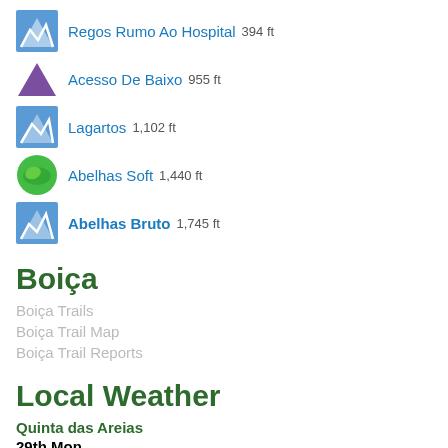Regos Rumo Ao Hospital 394 ft
Acesso De Baixo 955 ft
Lagartos 1,102 ft
Abelhas Soft 1,440 ft
Abelhas Bruto 1,745 ft
Boiça
Boiça Trails
Boiça Trail Map
Boiça Trail Reports
Local Weather
Quinta das Areias
29th Mon
clear sky
67°F - 74°F
humidity: 63